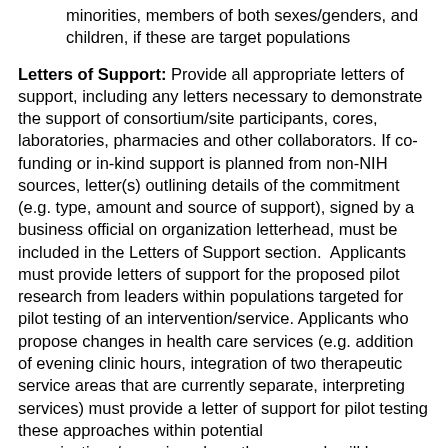minorities, members of both sexes/genders, and children, if these are target populations
Letters of Support: Provide all appropriate letters of support, including any letters necessary to demonstrate the support of consortium/site participants, cores, laboratories, pharmacies and other collaborators. If co-funding or in-kind support is planned from non-NIH sources, letter(s) outlining details of the commitment (e.g. type, amount and source of support), signed by a business official on organization letterhead, must be included in the Letters of Support section.  Applicants must provide letters of support for the proposed pilot research from leaders within populations targeted for pilot testing of an intervention/service. Applicants who propose changes in health care services (e.g. addition of evening clinic hours, integration of two therapeutic service areas that are currently separate, interpreting services) must provide a letter of support for pilot testing these approaches within potential organizations/agencies where the research will be conducted.  If new or revised services require institutional support, provide written letters of support from the institution(s) who will be involved in the research.  If the proposed research will be embedded into a larger clinical trial, provide written proof of support for the necessary